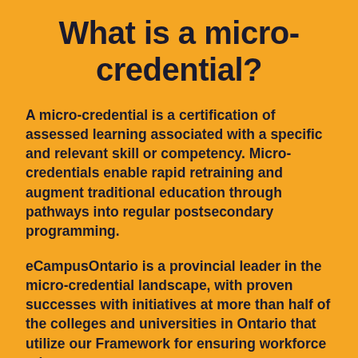What is a micro-credential?
A micro-credential is a certification of assessed learning associated with a specific and relevant skill or competency. Micro-credentials enable rapid retraining and augment traditional education through pathways into regular postsecondary programming.
eCampusOntario is a provincial leader in the micro-credential landscape, with proven successes with initiatives at more than half of the colleges and universities in Ontario that utilize our Framework for ensuring workforce relevance.